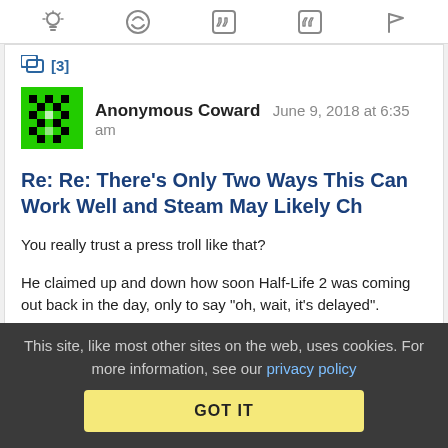[Figure (other): Icon toolbar with lightbulb, laughing emoji, left quote, right quote, and flag icons]
[3]
[Figure (other): Anonymous Coward avatar - green pixelated pattern]
Anonymous Coward   June 9, 2018 at 6:35 am
Re: Re: There's Only Two Ways This Can Work Well and Steam May Likely Ch
You really trust a press troll like that?
He claimed up and down how soon Half-Life 2 was coming out back in the day, only to say "oh, wait, it's delayed".
He's a hypetrain loose cannon that Valve can't dislodge from
This site, like most other sites on the web, uses cookies. For more information, see our privacy policy
GOT IT